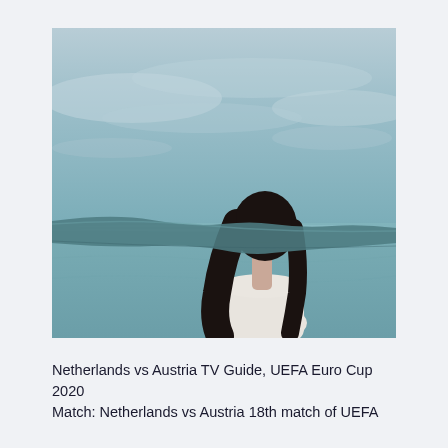[Figure (photo): A woman with long dark hair stands with her back to the camera, facing a misty teal-green sea or lake. A long dark teal scarf or piece of fabric is blowing in the wind across her face, obscuring it. She wears a light-colored (white/cream) top. The background is a moody, overcast sky with clouds and calm water.]
Netherlands vs Austria TV Guide, UEFA Euro Cup 2020 Match: Netherlands vs Austria 18th match of UEFA